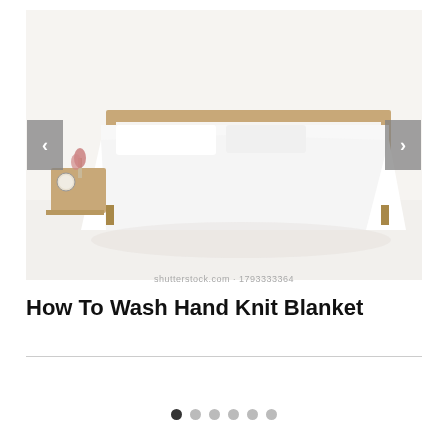[Figure (photo): A bright, minimalist bedroom with a wooden bed frame, white bedding, a small wooden bedside table with a clock and plant, and sheer white curtains. The room has a clean, Scandinavian aesthetic with white walls and floor.]
How To Wash Hand Knit Blanket